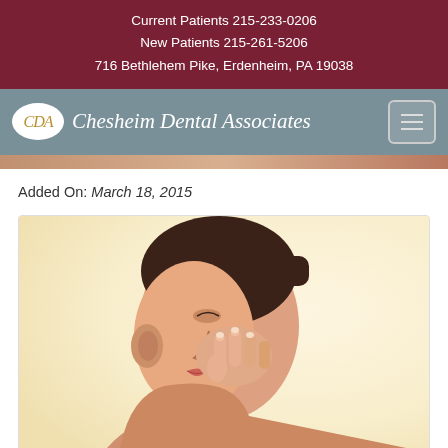Current Patients 215-233-0206
New Patients 215-261-5206
716 Bethlehem Pike, Erdenheim, PA 19038
[Figure (logo): Chesheim Dental Associates logo with CDA initials in oval and navigation hamburger menu]
Added On: March 18, 2015
[Figure (photo): Woman pinching her nose with her fingers, side profile view, suggesting bad breath or unpleasant smell]